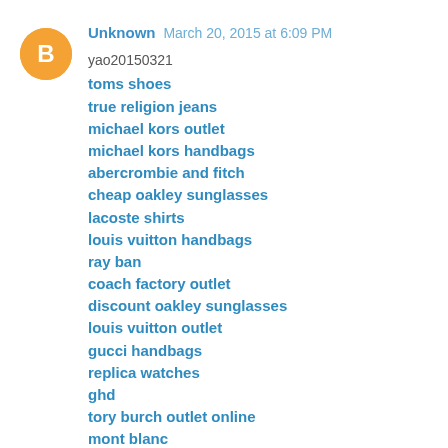[Figure (illustration): Orange circular avatar with white blogger 'B' icon]
Unknown March 20, 2015 at 6:09 PM
yao20150321
toms shoes
true religion jeans
michael kors outlet
michael kors handbags
abercrombie and fitch
cheap oakley sunglasses
lacoste shirts
louis vuitton handbags
ray ban
coach factory outlet
discount oakley sunglasses
louis vuitton outlet
gucci handbags
replica watches
ghd
tory burch outlet online
mont blanc
adidas outlet